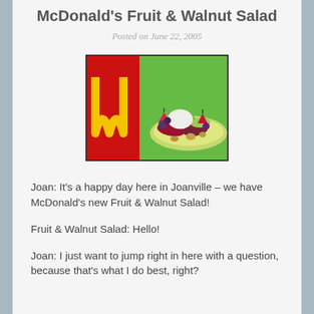McDonald's Fruit & Walnut Salad
Posted on June 22, 2005
[Figure (photo): McDonald's Fruit & Walnut Salad promotional image showing a plate of fruit including apple slices, grapes, strawberries, and walnuts with a cream dip on a green background with the McDonald's golden arches logo on the left side.]
Joan: It's a happy day here in Joanville – we have McDonald's new Fruit & Walnut Salad!
Fruit & Walnut Salad: Hello!
Joan: I just want to jump right in here with a question, because that's what I do best, right?